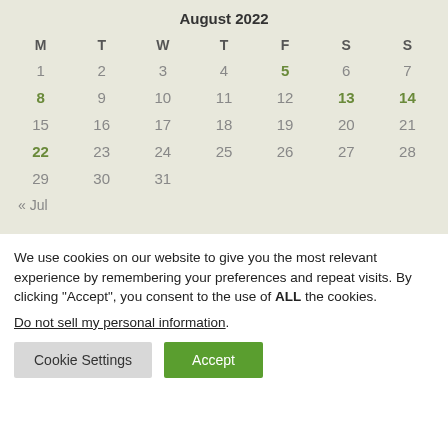| M | T | W | T | F | S | S |
| --- | --- | --- | --- | --- | --- | --- |
| 1 | 2 | 3 | 4 | 5 | 6 | 7 |
| 8 | 9 | 10 | 11 | 12 | 13 | 14 |
| 15 | 16 | 17 | 18 | 19 | 20 | 21 |
| 22 | 23 | 24 | 25 | 26 | 27 | 28 |
| 29 | 30 | 31 |  |  |  |  |
We use cookies on our website to give you the most relevant experience by remembering your preferences and repeat visits. By clicking “Accept”, you consent to the use of ALL the cookies.
Do not sell my personal information.